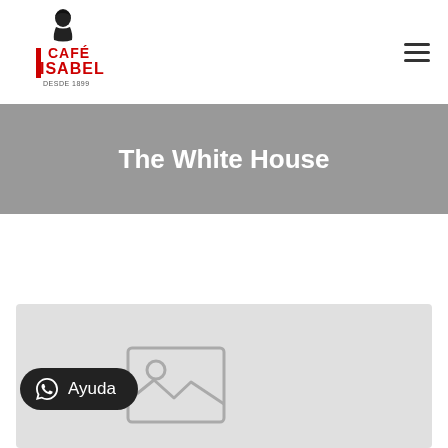[Figure (logo): Café Isabel logo with a woman illustration, red and black text reading CAFÉ ISABEL, and text 'DESDE 1899' at the bottom]
[Figure (other): Hamburger menu icon (three horizontal lines) in the top right corner]
The White House
[Figure (other): Light gray content area with a placeholder image icon in the lower center portion of the page]
Ayuda